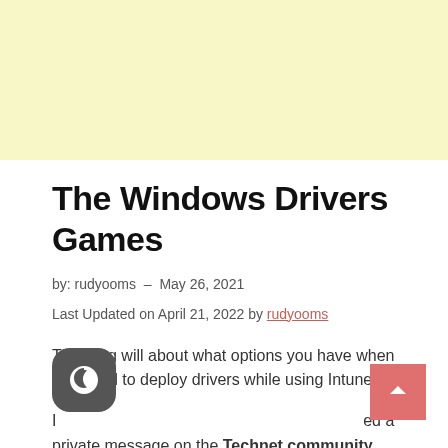[Figure (other): Yellow/cream colored advertisement banner area at the top of the page]
The Windows Drivers Games
by: rudyooms – May 26, 2021
Last Updated on April 21, 2022 by rudyooms
This blog will about what options you have when you need to deploy drivers while using Intune.
I received a private message on the Technet community asking me to help out with some driver installation problems. There were 100 devices that